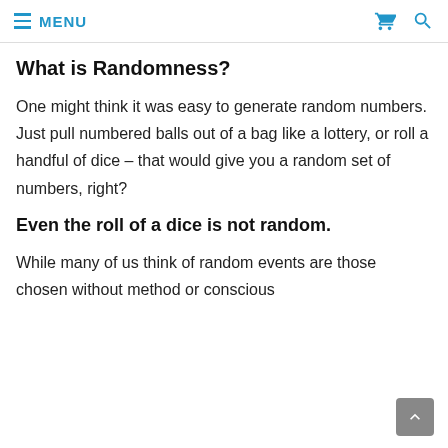≡ MENU
What is Randomness?
One might think it was easy to generate random numbers. Just pull numbered balls out of a bag like a lottery, or roll a handful of dice – that would give you a random set of numbers, right?
Even the roll of a dice is not random.
While many of us think of random events are those chosen without method or conscious